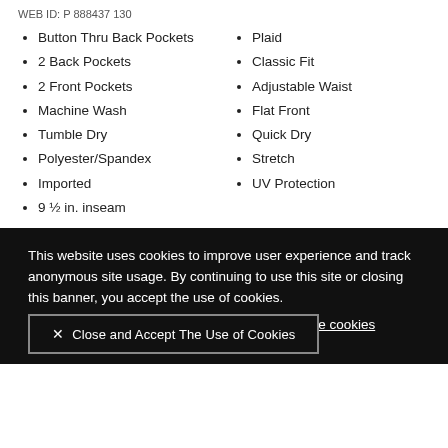WEB ID: P 888437 130
Button Thru Back Pockets
2 Back Pockets
2 Front Pockets
Machine Wash
Tumble Dry
Polyester/Spandex
Imported
9 ½ in. inseam
Plaid
Classic Fit
Adjustable Waist
Flat Front
Quick Dry
Stretch
UV Protection
This website uses cookies to improve user experience and track anonymous site usage. By continuing to use this site or closing this banner, you accept the use of cookies. Click here to read more about how we use cookies . Close and Accept The Use of Cookies